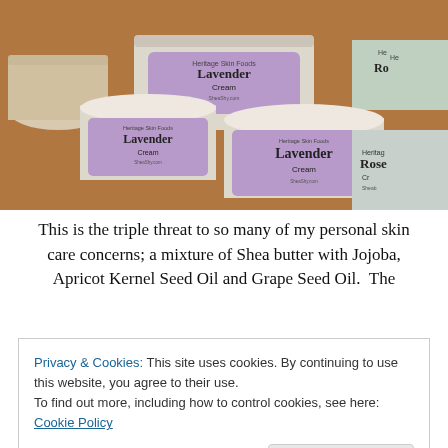[Figure (photo): Multiple jars of Heritage Skin Foods Lavender Cream and Rose Cream products arranged on a wooden surface, with purple labels prominently showing 'Lavender Cream' text.]
This is the triple threat to so many of my personal skin care concerns; a mixture of Shea butter with Jojoba, Apricot Kernel Seed Oil and Grape Seed Oil.  The
Privacy & Cookies: This site uses cookies. By continuing to use this website, you agree to their use.
To find out more, including how to control cookies, see here: Cookie Policy
Close and accept
incredible oils.